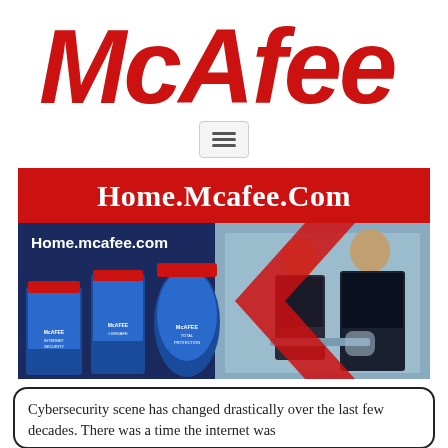[Figure (logo): McAfee logo in bold red italic text]
[Figure (screenshot): Hamburger menu icon inside a light grey bordered box]
Home.Mcafee.Com
[Figure (photo): McAfee promotional banner showing product boxes (McAfee Internet Security, McAfee LiveSafe, McAfee Total Protection) on the left with a dark blue background and red chevron, and two businessmen working on a laptop on the right. Text overlay reads 'Home.mcafee.com']
Cybersecurity scene has changed drastically over the last few decades. There was a time the internet was